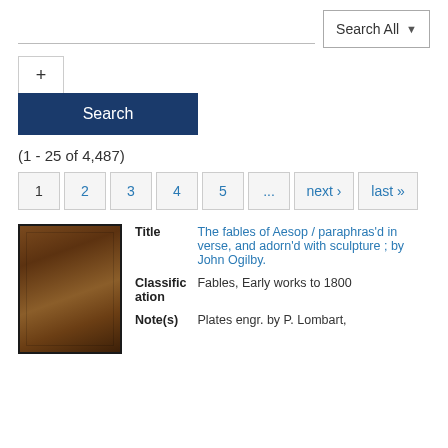Search All ▼
+ Search
(1 - 25 of 4,487)
1 2 3 4 5 ... next › last »
[Figure (photo): Brown leather book cover thumbnail]
| Field | Value |
| --- | --- |
| Title | The fables of Aesop / paraphras'd in verse, and adorn'd with sculpture ; by John Ogilby. |
| Classification | Fables, Early works to 1800 |
| Note(s) | Plates engr. by P. Lombart, |